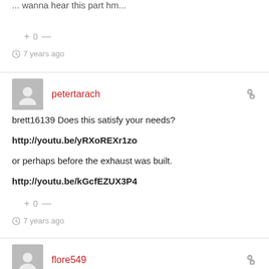... wanna hear this part hm...
+ 0 —
7 years ago
petertarach
brett16139 Does this satisfy your needs?

http://youtu.be/yRXoREXr1zo

or perhaps before the exhaust was built.

http://youtu.be/kGcfEZUX3P4
+ 0 —
7 years ago
flore549